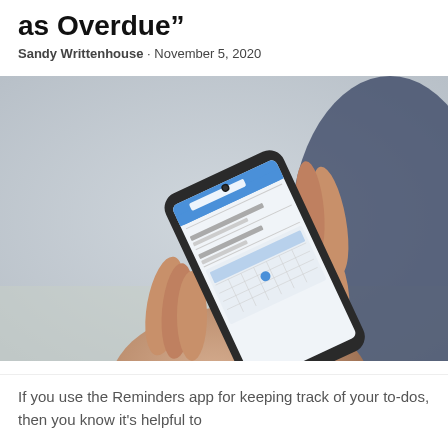as Overdue"
Sandy Writtenhouse · November 5, 2020
[Figure (photo): A person's hand holding a smartphone displaying what appears to be a Reminders or calendar app. The background is blurred showing a light grey outdoor environment. The person is wearing a dark navy top.]
If you use the Reminders app for keeping track of your to-dos, then you know it's helpful to...